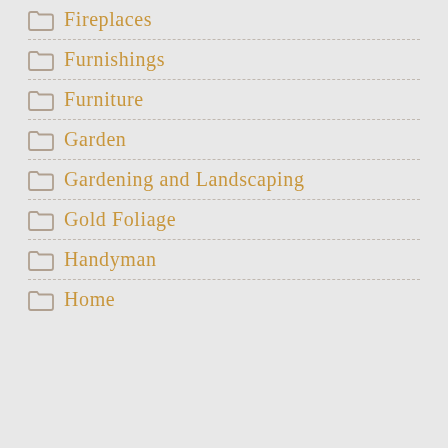Fireplaces
Furnishings
Furniture
Garden
Gardening and Landscaping
Gold Foliage
Handyman
Home